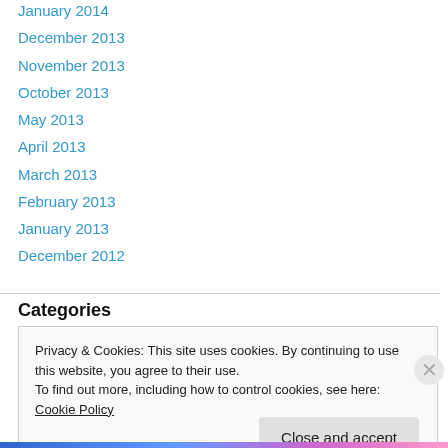January 2014
December 2013
November 2013
October 2013
May 2013
April 2013
March 2013
February 2013
January 2013
December 2012
Categories
Privacy & Cookies: This site uses cookies. By continuing to use this website, you agree to their use.
To find out more, including how to control cookies, see here: Cookie Policy
Close and accept